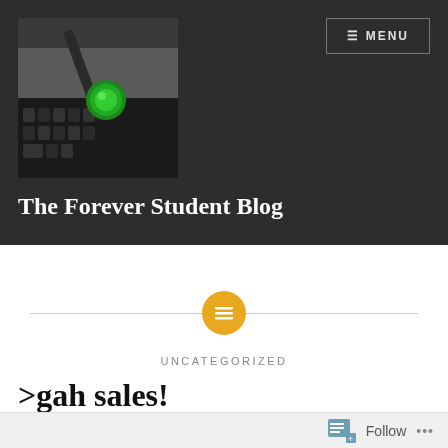The Forever Student Blog
[Figure (photo): Close-up photo of a laptop keyboard with a glowing green circular light on a dark surface]
The Forever Student Blog
[Figure (other): Orange/yellow circular icon with menu/list lines symbol used as a section divider]
UNCATEGORIZED
>gah sales!
Follow